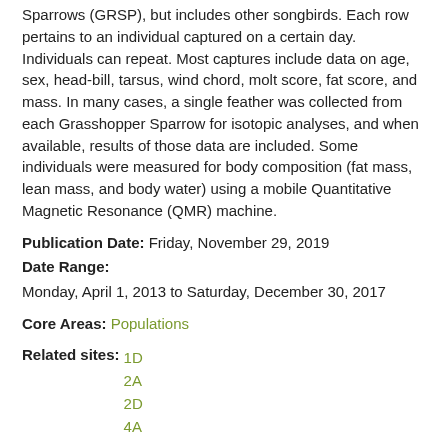Sparrows (GRSP), but includes other songbirds. Each row pertains to an individual captured on a certain day. Individuals can repeat. Most captures include data on age, sex, head-bill, tarsus, wind chord, molt score, fat score, and mass. In many cases, a single feather was collected from each Grasshopper Sparrow for isotopic analyses, and when available, results of those data are included. Some individuals were measured for body composition (fat mass, lean mass, and body water) using a mobile Quantitative Magnetic Resonance (QMR) machine.
Publication Date: Friday, November 29, 2019
Date Range: Monday, April 1, 2013 to Saturday, December 30, 2017
Core Areas: Populations
Related sites: 1D 2A 2D 4A